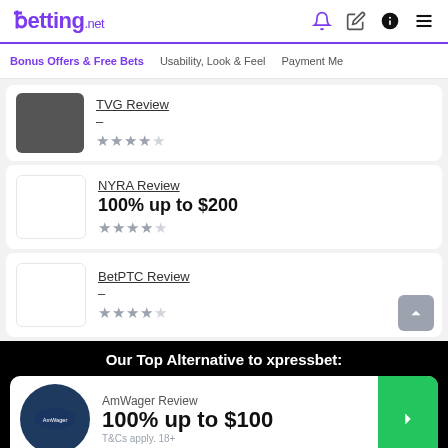betting.net
Bonus Offers & Free Bets | Usability, Look & Feel | Payment Me
TVG Review
–
★★★★☆
NYRA Review
100% up to $200
★★★★☆
BetPTC Review
–
★★★★☆
Our Top Alternative to xpressbet:
AmWager Review
100% up to $100
T&Cs apply. 18+